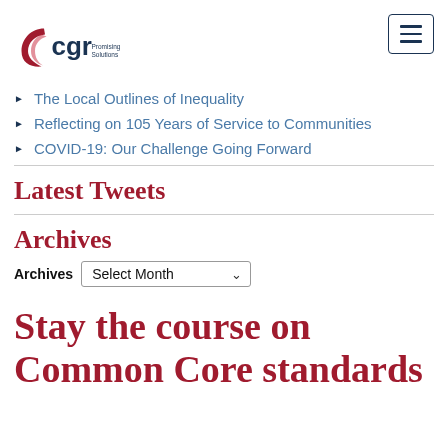[Figure (logo): CGR Promising Solutions logo with red crescent/C shape and dark blue 'cgr' text and 'Promising Solutions' tagline]
The Local Outlines of Inequality
Reflecting on 105 Years of Service to Communities
COVID-19: Our Challenge Going Forward
Latest Tweets
Archives
Archives  Select Month
Stay the course on Common Core standards